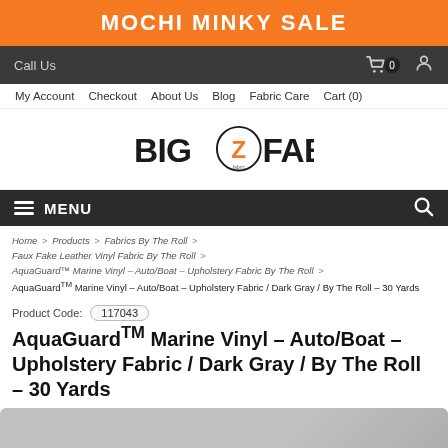MOCHI MINKY SALE
Call Us | Cart 0 | User icon
My Account | Checkout | About Us | Blog | Fabric Care | Cart (0)
[Figure (logo): Big Z Fabric logo with orange Z in circle]
MENU
Home > Products > Fabrics By The Roll > Faux Fake Leather Vinyl Fabric By The Roll > AquaGuard™ Marine Vinyl - Auto/Boat - Upholstery Fabric By The Roll > AquaGuard™ Marine Vinyl - Auto/Boat - Upholstery Fabric / Dark Gray / By The Roll - 30 Yards
Product Code: 117043
AquaGuardTM Marine Vinyl - Auto/Boat - Upholstery Fabric / Dark Gray / By The Roll - 30 Yards
[Figure (photo): Dark gray vinyl fabric swatch photo]